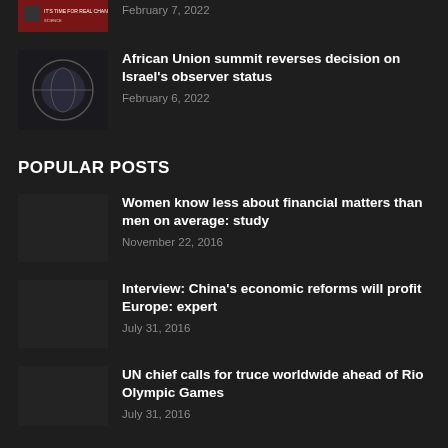[Figure (photo): Red banner thumbnail - top article partial]
February 7, 2022
[Figure (photo): Dark circular graphic thumbnail]
African Union summit reverses decision on Israel's observer status
February 6, 2022
POPULAR POSTS
[Figure (photo): Dark thumbnail for financial article]
Women know less about financial matters than men on average: study
November 22, 2016
[Figure (photo): Dark thumbnail for China economics article]
Interview: China's economic reforms will profit Europe: expert
July 31, 2016
[Figure (photo): Dark thumbnail for UN Olympic article]
UN chief calls for truce worldwide ahead of Rio Olympic Games
July 31, 2016